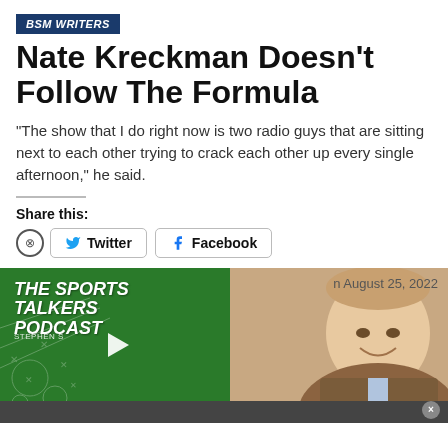BSM WRITERS
Nate Kreckman Doesn't Follow The Formula
"The show that I do right now is two radio guys that are sitting next to each other trying to crack each other up every single afternoon," he said.
Share this:
[Figure (screenshot): Twitter and Facebook share buttons with a close (X) circle icon on the left]
[Figure (photo): The Sports Talkers Podcast thumbnail with green background and play button overlay, alongside a photo of a man smiling in a suit. Date shown: August 25, 2022]